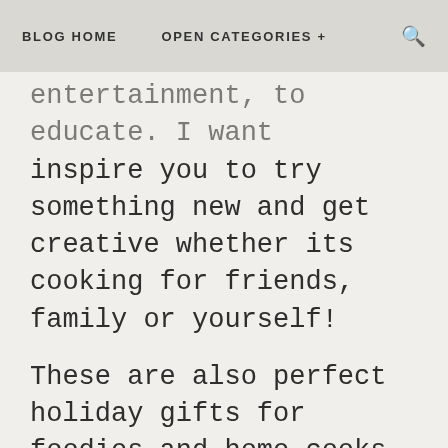BLOG HOME    OPEN CATEGORIES +    🔍
entertainment, to educate. I want inspire you to try something new and get creative whether its cooking for friends, family or yourself!
These are also perfect holiday gifts for foodies and home cooks that love to be in the kictchen. The photos and stories will warm their hearts as well.  Happy holidays xxx MM